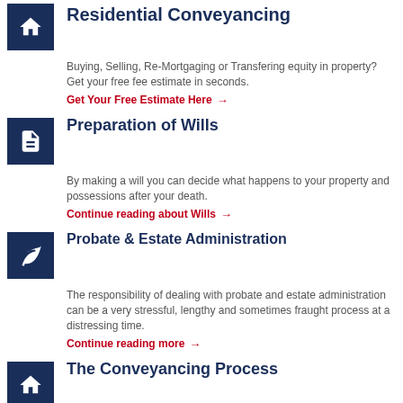Residential Conveyancing
Buying, Selling, Re-Mortgaging or Transfering equity in property? Get your free fee estimate in seconds.
Get Your Free Estimate Here →
Preparation of Wills
By making a will you can decide what happens to your property and possessions after your death.
Continue reading about Wills →
Probate & Estate Administration
The responsibility of dealing with probate and estate administration can be a very stressful, lengthy and sometimes fraught process at a distressing time.
Continue reading more →
The Conveyancing Process
Kennan, Kay & Co has the experience and the